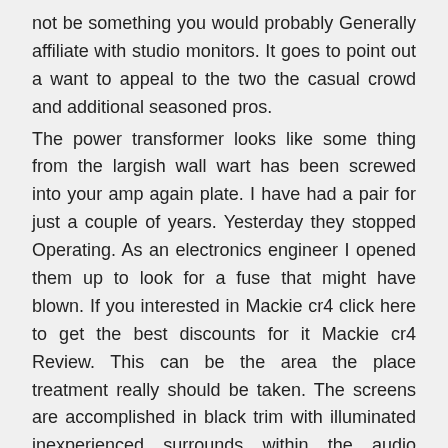not be something you would probably Generally affiliate with studio monitors. It goes to point out a want to appeal to the two the casual crowd and additional seasoned pros.
The power transformer looks like some thing from the largish wall wart has been screwed into your amp again plate. I have had a pair for just a couple of years. Yesterday they stopped Operating. As an electronics engineer I opened them up to look for a fuse that might have blown. If you interested in Mackie cr4 click here to get the best discounts for it Mackie cr4 Review. This can be the area the place treatment really should be taken. The screens are accomplished in black trim with illuminated inexperienced surrounds within the audio system and an off effectively administration.
This In addition provides quantity management. In equal energy method, you will listen to these distinctions in loudness as they Normally arise involving speakers. Features a 3. The larger five-inch woofer offers you larger depth over the reduce close. It had a sweatshirt-influenced design and style, which was fun, however the cashmere was quite lightweight and stretched terribly, leading to a